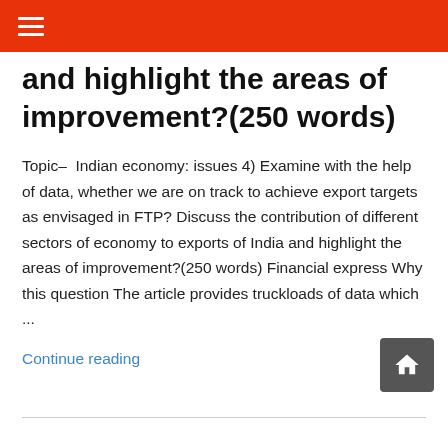≡
and highlight the areas of improvement?(250 words)
Topic–  Indian economy: issues 4) Examine with the help of data, whether we are on track to achieve export targets as envisaged in FTP? Discuss the contribution of different sectors of economy to exports of India and highlight the areas of improvement?(250 words) Financial express Why this question The article provides truckloads of data which ...
Continue reading